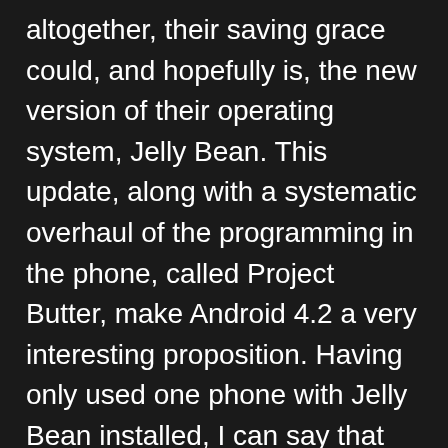altogether, their saving grace could, and hopefully is, the new version of their operating system, Jelly Bean. This update, along with a systematic overhaul of the programming in the phone, called Project Butter, make Android 4.2 a very interesting proposition. Having only used one phone with Jelly Bean installed, I can say that the difference between it and Ice Cream Sandwich (Android 4.0), even on a phone like the Galaxy Nexus, is absolutely night and day. For anybody that has used Android, no matter how die-hard a fan you are, you much concede that dealing with systematic lagginess on even superphones like the Samsung Galaxy SIII is a pretty hard pill to swallow, and has actually been a deal-breaker for